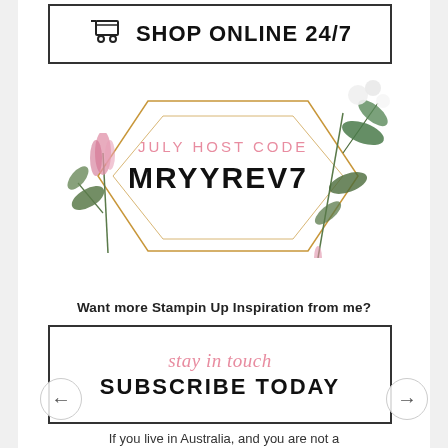[Figure (illustration): Shop Online 24/7 banner with shopping cart icon inside a rectangular border]
[Figure (illustration): July Host Code MRYYREV7 displayed inside a gold geometric hexagonal frame decorated with pink and green floral/botanical elements]
Want more Stampin Up Inspiration from me?
[Figure (illustration): Subscribe box with 'stay in touch' in pink cursive and 'SUBSCRIBE TODAY' in bold black uppercase inside a rectangular border]
If you live in Australia, and you are not a